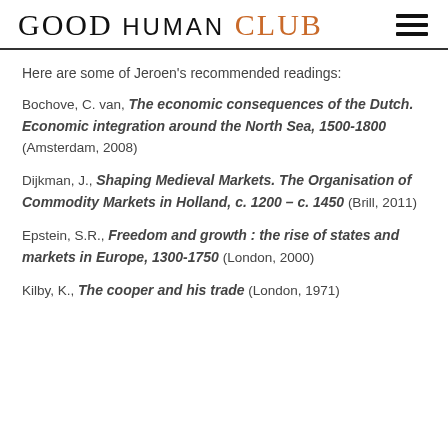GOOD HUMAN CLUB
Here are some of Jeroen's recommended readings:
Bochove, C. van, The economic consequences of the Dutch. Economic integration around the North Sea, 1500-1800 (Amsterdam, 2008)
Dijkman, J., Shaping Medieval Markets. The Organisation of Commodity Markets in Holland, c. 1200 – c. 1450 (Brill, 2011)
Epstein, S.R., Freedom and growth : the rise of states and markets in Europe, 1300-1750 (London, 2000)
Kilby, K., The cooper and his trade (London, 1971)